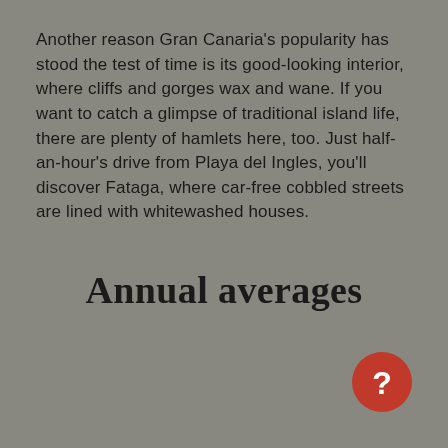Another reason Gran Canaria's popularity has stood the test of time is its good-looking interior, where cliffs and gorges wax and wane. If you want to catch a glimpse of traditional island life, there are plenty of hamlets here, too. Just half-an-hour's drive from Playa del Ingles, you'll discover Fataga, where car-free cobbled streets are lined with whitewashed houses.
Annual averages
[Figure (other): Red circular help/chat button with white question mark icon]